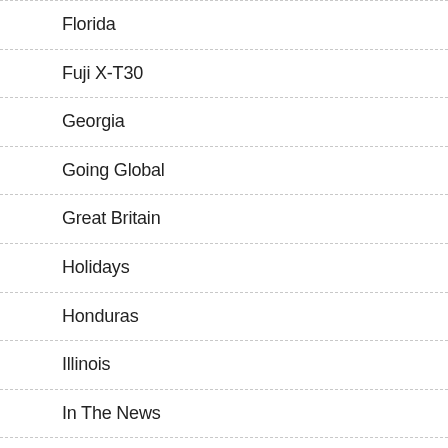Florida
Fuji X-T30
Georgia
Going Global
Great Britain
Holidays
Honduras
Illinois
In The News
Instagram